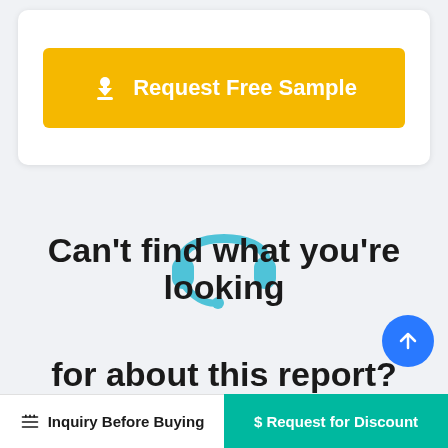[Figure (other): Yellow button labeled 'Request Free Sample' with a download icon, inside a white card]
[Figure (illustration): Teal headset/customer support icon]
Can't find what you're looking
for about this report?
Inquiry Before Buying
$ Request for Discount